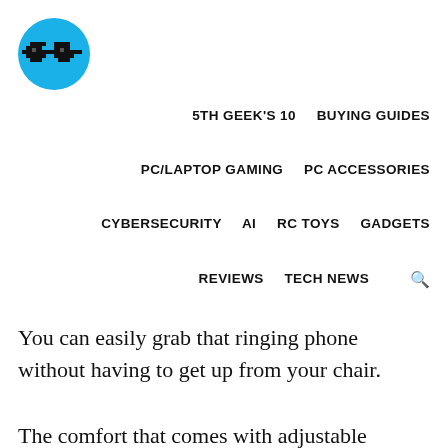[Figure (logo): Blue circular logo with pixel-art glasses icon (5th Geek brand logo)]
5TH GEEK'S 10   BUYING GUIDES   PC/LAPTOP GAMING   PC ACCESSORIES   CYBERSECURITY   AI   RC TOYS   GADGETS   REVIEWS   TECH NEWS
You can easily grab that ringing phone without having to get up from your chair.
The comfort that comes with adjustable armrests cannot be overstated. You won't know